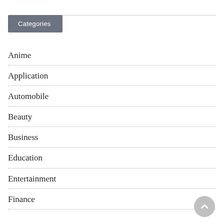Categories
Anime
Application
Automobile
Beauty
Business
Education
Entertainment
Finance